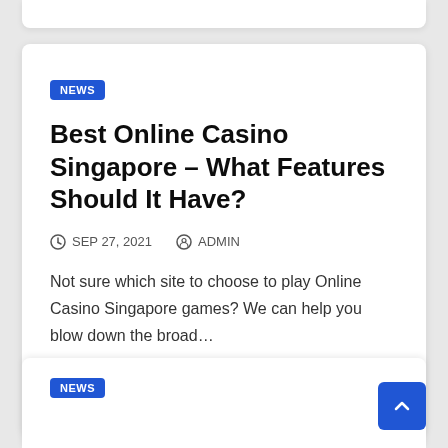NEWS
Best Online Casino Singapore – What Features Should It Have?
SEP 27, 2021   ADMIN
Not sure which site to choose to play Online Casino Singapore games? We can help you blow down the broad…
NEWS